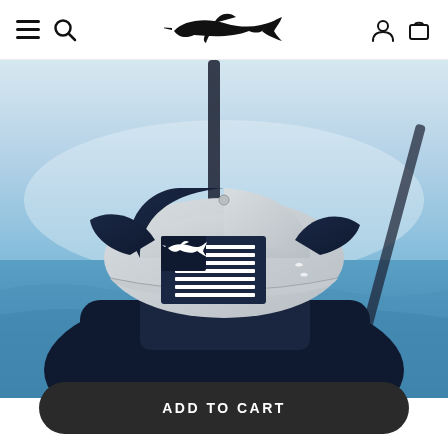Navigation header with hamburger menu, search icon, marlin logo, user icon, and cart icon
[Figure (photo): Person wearing a light gray and navy blue trucker cap with an American flag patch featuring a marlin/swordfish silhouette instead of stars, on a boat with blue ocean in the background]
ADD TO CART